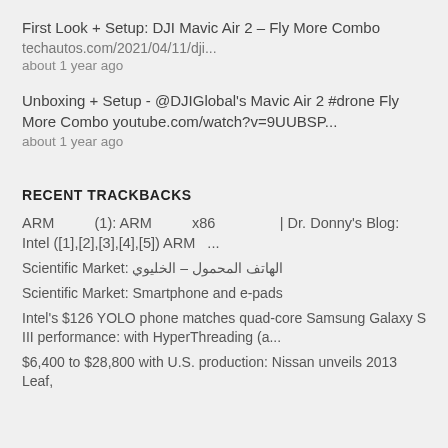First Look + Setup: DJI Mavic Air 2 – Fly More Combo
techautos.com/2021/04/11/dji...
about 1 year ago
Unboxing + Setup - @DJIGlobal's Mavic Air 2 #drone Fly More Combo youtube.com/watch?v=9UUBSP...
about 1 year ago
RECENT TRACKBACKS
ARM           (1): ARM           x86                    | Dr. Donny's Blog: Intel ([1],[2],[3],[4],[5]) ARM   ...
Scientific Market: الهاتف المحمول – الخليوي
Scientific Market: Smartphone and e-pads
Intel's $126 YOLO phone matches quad-core Samsung Galaxy S III performance: with HyperThreading (a...
$6,400 to $28,800 with U.S. production: Nissan unveils 2013 Leaf,